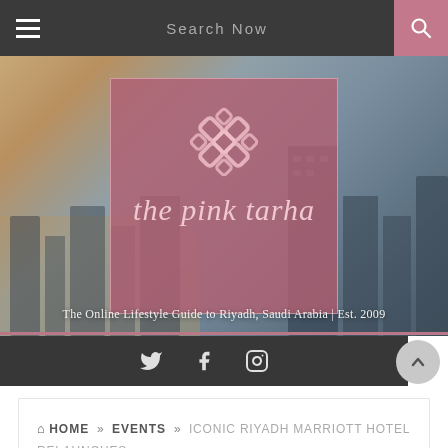Search Now
[Figure (logo): The Pink Tarha logo — a decorative geometric knot symbol above the cursive text 'the pink tarha' on a dusty rose pink background rectangle]
The Online Lifestyle Guide to Riyadh, Saudi Arabia | Est. 2009
[Figure (infographic): Social media icons bar: Twitter bird icon, Facebook f icon, Instagram camera icon on dark background]
HOME » EVENTS » ICONIC RIYADH MARRIOTT HOTEL RELAUNCHES